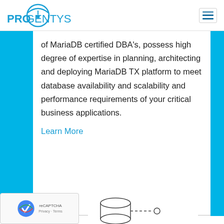[Figure (logo): Progentys logo with blue circular icon and blue text reading PROGENTYS]
[Figure (other): Hamburger menu icon (three horizontal lines) in a rounded rectangle]
of MariaDB certified DBA's, possess high degree of expertise in planning, architecting and deploying MariaDB TX platform to meet database availability and scalability and performance requirements of your critical business applications.
Learn More
[Figure (other): reCAPTCHA badge with Privacy and Terms links]
[Figure (engineering-diagram): Partial database architecture diagram showing database cylinder and connection nodes with dashed lines]